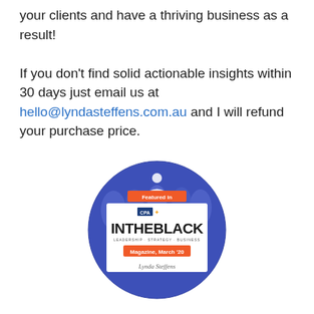your clients and have a thriving business as a result!

If you don't find solid actionable insights within 30 days just email us at hello@lyndasteffens.com.au and I will refund your purchase price.
[Figure (illustration): Circular badge with dark blue background showing people in background. Contains orange banner 'Featured in', white card with CPA logo, 'INTHEBLACK' text in bold, 'LEADERSHIP · STRATEGY · BUSINESS' subtitle, orange banner 'Magazine, March '20', and signature 'Lynda Steffens'.]